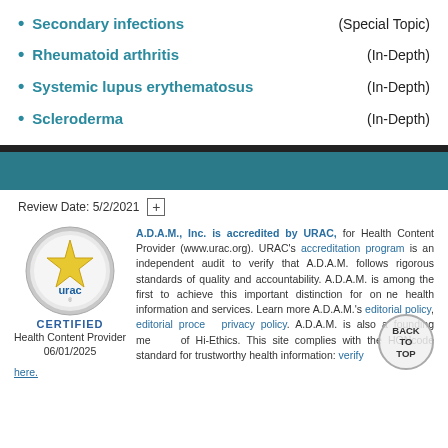Secondary infections (Special Topic)
Rheumatoid arthritis (In-Depth)
Systemic lupus erythematosus (In-Depth)
Scleroderma (In-Depth)
Review Date: 5/2/2021
A.D.A.M., Inc. is accredited by URAC, for Health Content Provider (www.urac.org). URAC's accreditation program is an independent audit to verify that A.D.A.M. follows rigorous standards of quality and accountability. A.D.A.M. is among the first to achieve this important distinction for online health information and services. Learn more about A.D.A.M.'s editorial policy, editorial process and privacy policy. A.D.A.M. is also a founding member of Hi-Ethics. This site complies with the HONcode standard for trustworthy health information: verify here.
[Figure (logo): URAC Certified Health Content Provider 06/01/2025 badge]
BACK TO TOP